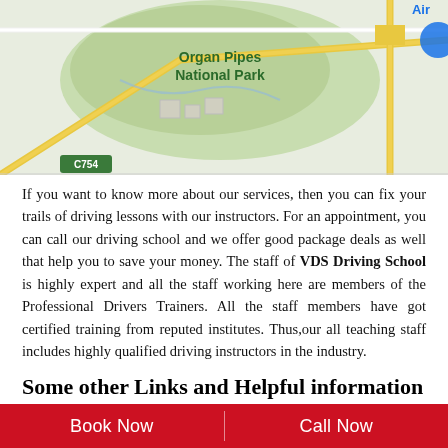[Figure (map): Google Maps view showing Organ Pipes National Park area with road C754, green park areas, and road network]
If you want to know more about our services, then you can fix your trails of driving lessons with our instructors. For an appointment, you can call our driving school and we offer good package deals as well that help you to save your money. The staff of VDS Driving School is highly expert and all the staff working here are members of the Professional Drivers Trainers. All the staff members have got certified training from reputed institutes. Thus,our all teaching staff includes highly qualified driving instructors in the industry.
Some other Links and Helpful information
Hurry Up !!! Searching for Best driving school In Melbourne? Then you are on right track. If you want to know more About us click Here. If you want to know the pricing of Driving Lessons
Book Now | Call Now